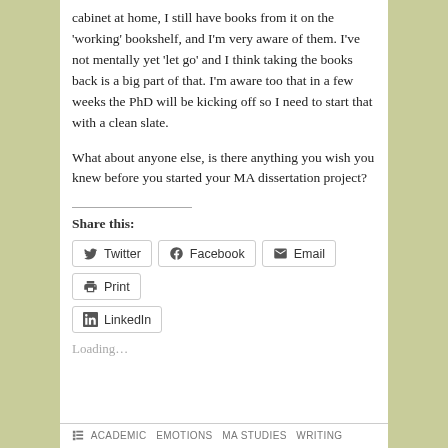cabinet at home, I still have books from it on the 'working' bookshelf, and I'm very aware of them. I've not mentally yet 'let go' and I think taking the books back is a big part of that. I'm aware too that in a few weeks the PhD will be kicking off so I need to start that with a clean slate.

What about anyone else, is there anything you wish you knew before you started your MA dissertation project?
Share this:
Twitter | Facebook | Email | Print | LinkedIn
Loading...
ACADEMIC  EMOTIONS  MA STUDIES  WRITING